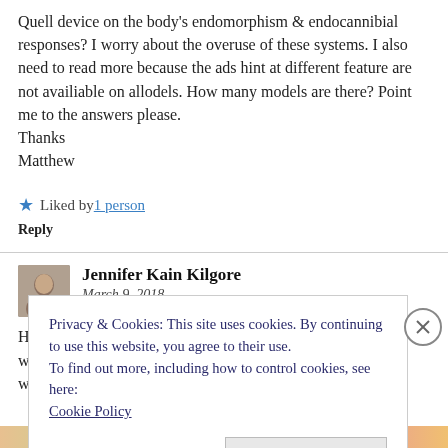Quell device on the body's endomorphism & endocannibial responses? I worry about the overuse of these systems. I also need to read more because the ads hint at different feature are not availiable on allodels. How many models are there? Point me to the answers please.
Thanks
Matthew
★ Liked by 1 person
Reply
Jennifer Kain Kilgore
March 9, 2018
Privacy & Cookies: This site uses cookies. By continuing to use this website, you agree to their use.
To find out more, including how to control cookies, see here:
Cookie Policy
Close and accept